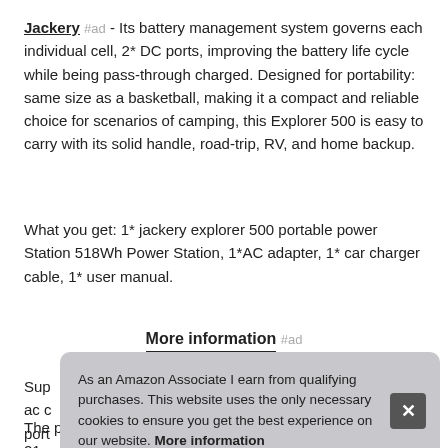Jackery #ad - Its battery management system governs each individual cell, 2* DC ports, improving the battery life cycle while being pass-through charged. Designed for portability: same size as a basketball, making it a compact and reliable choice for scenarios of camping, this Explorer 500 is easy to carry with its solid handle, road-trip, RV, and home backup.
What you get: 1* jackery explorer 500 portable power Station 518Wh Power Station, 1*AC adapter, 1* car charger cable, 1* user manual.
More information #ad
Sup... ac c... port...
As an Amazon Associate I earn from qualifying purchases. This website uses the only necessary cookies to ensure you get the best experience on our website. More information
The perfect capacity: with a 518 watt-hour 24ah, lamp light, 21...